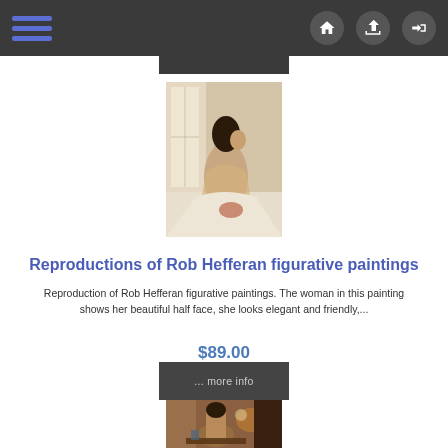Navigation bar with hamburger menu and home/upload/login icons
[Figure (illustration): Figurative painting of a woman sitting on a bed, shown from behind with half face visible, near a window with soft light]
Reproductions of Rob Hefferan figurative paintings
Reproduction of Rob Hefferan figurative paintings. The woman in this painting shows her beautiful half face, she looks elegant and friendly,...
$89.00
... more info
[Figure (illustration): Figurative painting showing a woman in a warm, richly decorated interior room setting]